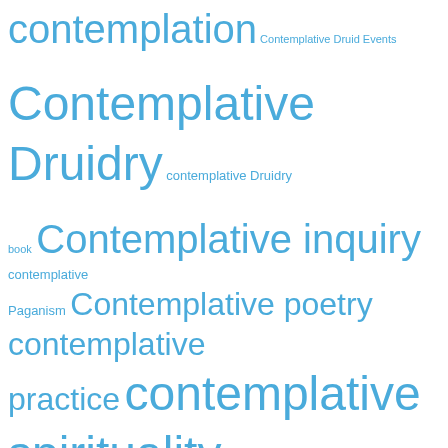[Figure (other): Tag cloud with spiritual, druidry, and contemplative practice terms in various sizes, all in blue color. Larger terms include: contemplation, Contemplative Druidry, Contemplative inquiry, contemplative spirituality, Druidry, Earth spirituality, embodied spirituality, Goddess, meditation, Nature, Nature mysticism, nature spirituality, non-duality, Paganism. Smaller terms include: Contemplative Druid Events, contemplative Druidry, book, contemplative Paganism, Contemplative poetry, contemplative practice, Deep Ecology, Direct Path, Douglas Harding, Eco-Spirituality, Ecosophy, emptiness, Ethics, Flowing moment, Gnosticism, Headless Way, Interbeing, John Matthews, Kabbalah, Mahayana Buddhism, Merlin, mindfulness, Moon Books, Mysticism, Nature poetry, non-dualism, OBOD, Philip Carr-]